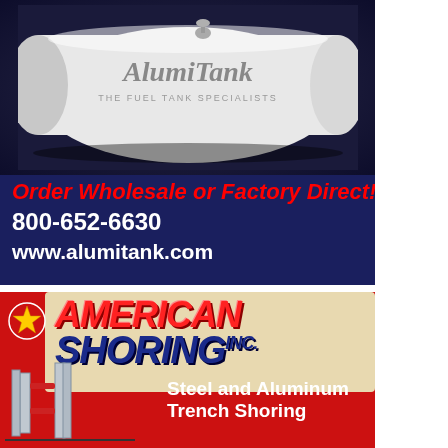[Figure (illustration): AluminTank advertisement showing a white cylindrical fuel tank with 'AlumiTank - The Fuel Tank Specialists' logo on dark background, with red text 'Order Wholesale or Factory Direct!', phone number 800-652-6630, and website www.alumitank.com]
[Figure (illustration): American Shoring Inc. advertisement on red background showing company logo with star, 'AMERICAN SHORING INC.' text, shoring equipment on left, and text 'Steel and Aluminum Trench Shoring']